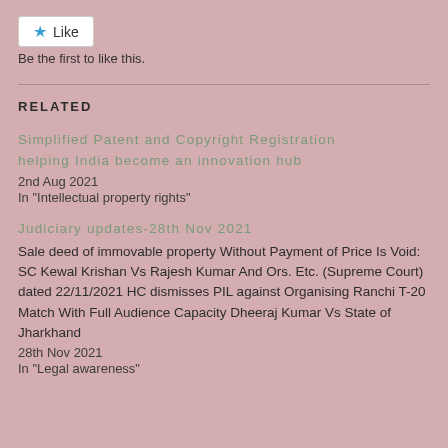[Figure (other): Like button widget with star icon and 'Like' text, white background]
Be the first to like this.
RELATED
Simplified Patent and Copyright Registration helping India become an innovation hub
2nd Aug 2021
In "Intellectual property rights"
Judiciary updates-28th Nov 2021
Sale deed of immovable property Without Payment of Price Is Void: SC Kewal Krishan Vs Rajesh Kumar And Ors. Etc. (Supreme Court) dated 22/11/2021 HC dismisses PIL against Organising Ranchi T-20 Match With Full Audience Capacity Dheeraj Kumar Vs State of Jharkhand
28th Nov 2021
In "Legal awareness"